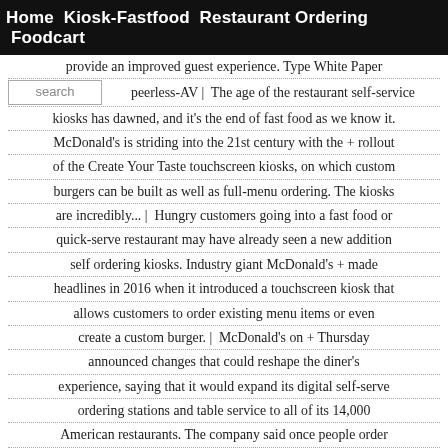Home  Kiosk-Fastfood  Restaurant Ordering  Foodcart
provide an improved guest experience. Type White Paper peerless-AV | The age of the restaurant self-service kiosks has dawned, and it's the end of fast food as we know it. McDonald's is striding into the 21st century with the + rollout of the Create Your Taste touchscreen kiosks, on which custom burgers can be built as well as full-menu ordering. The kiosks are incredibly... | Hungry customers going into a fast food or quick-serve restaurant may have already seen a new addition self ordering kiosks. Industry giant McDonald's + made headlines in 2016 when it introduced a touchscreen kiosk that allows customers to order existing menu items or even create a custom burger. | McDonald's on + Thursday announced changes that could reshape the diner's experience, saying that it would expand its digital self-serve ordering stations and table service to all of its 14,000 American restaurants. The company said once people order